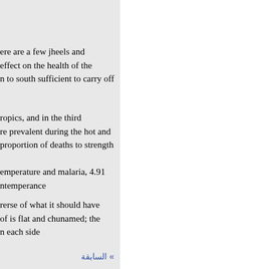ere are a few jheels and
effect on the health of the
n to south sufficient to carry off
ropics, and in the third
re prevalent during the hot and
proportion of deaths to strength
emperature and malaria, 4.91
ntemperance
rerse of what it should have
of is flat and chunamed; the
n each side
» السابقة